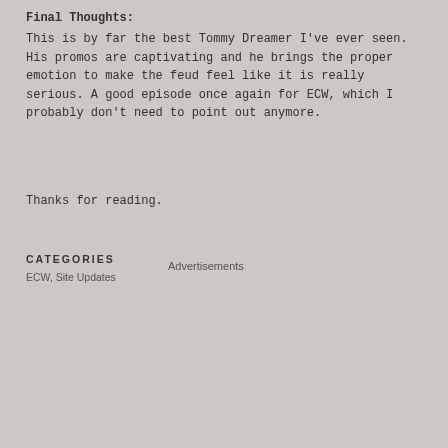Final Thoughts:
This is by far the best Tommy Dreamer I've ever seen. His promos are captivating and he brings the proper emotion to make the feud feel like it is really serious. A good episode once again for ECW, which I probably don't need to point out anymore.
Thanks for reading.
CATEGORIES
ECW, Site Updates
Advertisements
[Figure (other): Advertisement banner reading 'Build a writing habit. Post on the go.' with a logo at the bottom right, white background.]